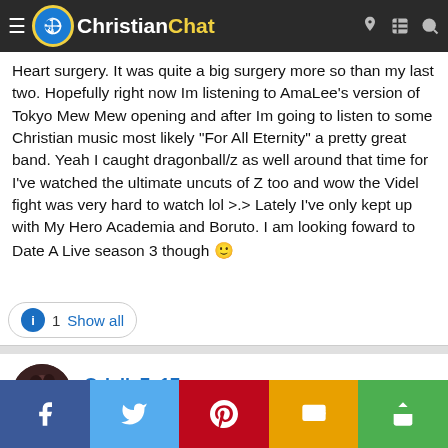Christian Chat
Heart surgery. It was quite a big surgery more so than my last two. Hopefully right now Im listening to AmaLee's version of Tokyo Mew Mew opening and after Im going to listen to some Christian music most likely "For All Eternity" a pretty great band. Yeah I caught dragonball/z as well around that time for I've watched the ultimate uncuts of Z too and wow the Videl fight was very hard to watch lol >.> Lately I've only kept up with My Hero Academia and Boruto. I am looking foward to Date A Live season 3 though 🙂
1  Show all
Orielle7x17
Active member